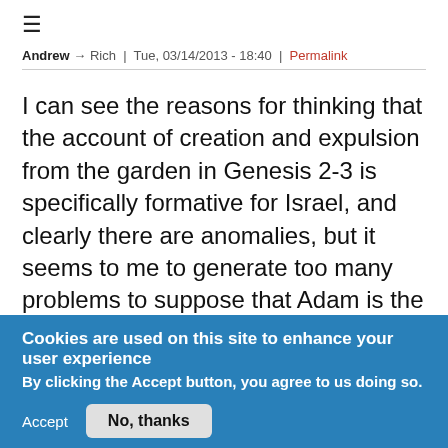≡
Andrew → Rich | Tue, 03/14/2013 - 18:40 | Permalink
I can see the reasons for thinking that the account of creation and expulsion from the garden in Genesis 2-3 is specifically formative for Israel, and clearly there are anomalies, but it seems to me to generate too many problems to suppose that Adam is the head of only part of humanity. Genesis 2:5, for example, states that prior to the formation of Adam there was no man on the earth—there is no reason to think that ʾāres here
Cookies are used on this site to enhance your user experience
By clicking the Accept button, you agree to us doing so.
Accept  No, thanks